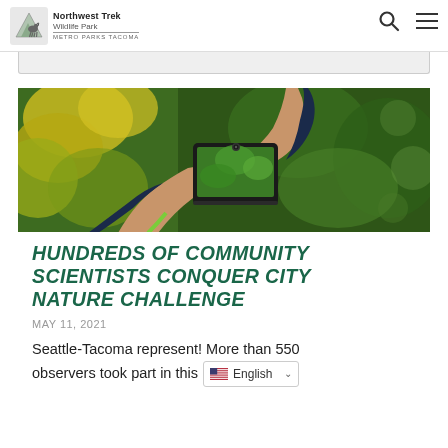Northwest Trek Wildlife Park — Metro Parks Tacoma
[Figure (photo): Person holding a smartphone taking a photo of green and yellow flowering foliage outdoors]
HUNDREDS OF COMMUNITY SCIENTISTS CONQUER CITY NATURE CHALLENGE
MAY 11, 2021
Seattle-Tacoma represent! More than 550 observers took part in this